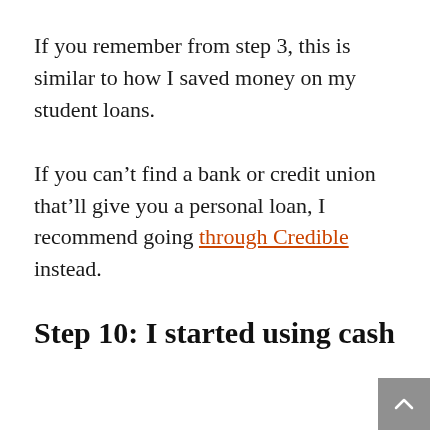If you remember from step 3, this is similar to how I saved money on my student loans.
If you can't find a bank or credit union that'll give you a personal loan, I recommend going through Credible instead.
Step 10: I started using cash